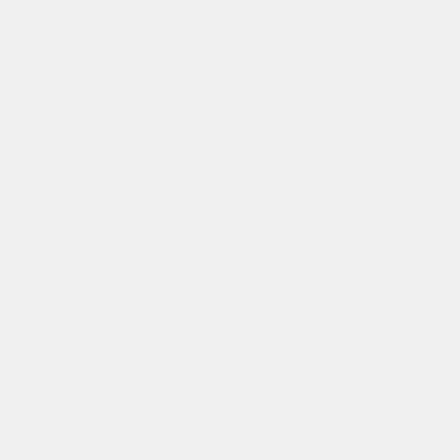or to create one Link Community for Mission1 with its Children, and a second Link Community for Mission2 with its Children, so that players participating in those missions can communicate within their own mission,